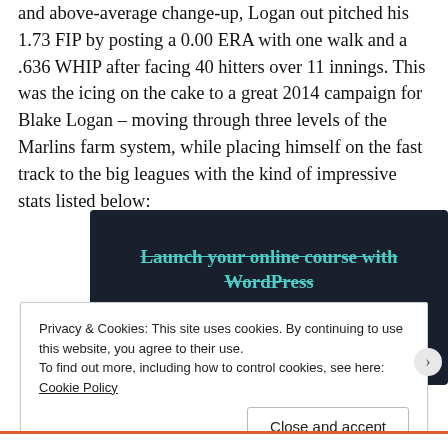and above-average change-up, Logan out pitched his 1.73 FIP by posting a 0.00 ERA with one walk and a .636 WHIP after facing 40 hitters over 11 innings. This was the icing on the cake to a great 2014 campaign for Blake Logan – moving through three levels of the Marlins farm system, while placing himself on the fast track to the big leagues with the kind of impressive stats listed below:
[Figure (other): Advertisement banner with dark navy background showing 'Launch your online course with WordPress' in teal text with a 'Learn More' teal button]
Privacy & Cookies: This site uses cookies. By continuing to use this website, you agree to their use.
To find out more, including how to control cookies, see here: Cookie Policy
Close and accept